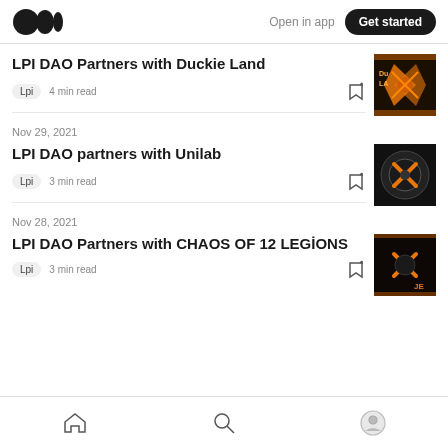Medium — Open in app | Get started
LPI DAO Partners with Duckie Land
Lpi · 4 min read
Nov 29, 2021
LPI DAO partners with Unilab
Lpi · 3 min read
Nov 28, 2021
LPI DAO Partners with CHAOS OF 12 LEGİONS
Lpi · 3 min read
Home | Search | Profile